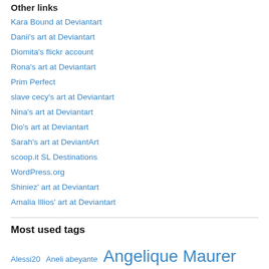Other links
Kara Bound at Deviantart
Danii's art at Deviantart
Diomita's flickr account
Rona's art at Deviantart
Prim Perfect
slave cecy's art at Deviantart
Nina's art at Deviantart
Dio's art at Deviantart
Sarah's art at DeviantArt
scoop.it SL Destinations
WordPress.org
Shiniez' art at Deviantart
Amalia Illios' art at Deviantart
Most used tags
Alessi20 Aneli abeyante Angelique Maurer AnneWanne